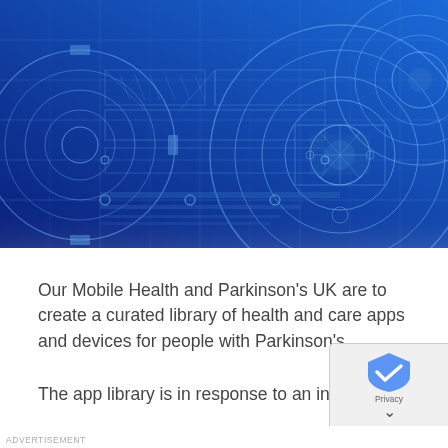[Figure (illustration): Blueprint-style engineering/technical schematic illustration with gears and circuit-like diagrams on a blue gradient background]
Our Mobile Health and Parkinson's UK are to create a curated library of health and care apps and devices for people with Parkinson's.
The app library is in response to an increasing dem
ADVERTISEMENT